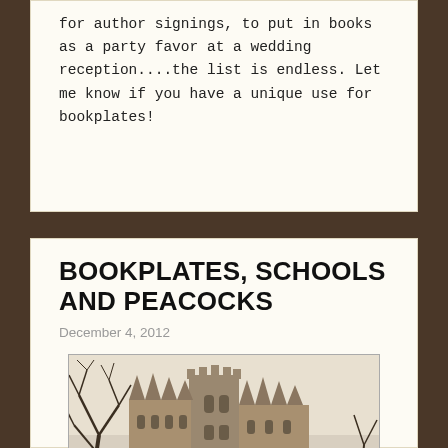for author signings, to put in books as a party favor at a wedding reception....the list is endless. Let me know if you have a unique use for bookplates!
BOOKPLATES, SCHOOLS AND PEACOCKS
December 4, 2012
[Figure (photo): A gothic stone church or cathedral with bare winter trees in the foreground, photographed in a sepia/muted tone.]